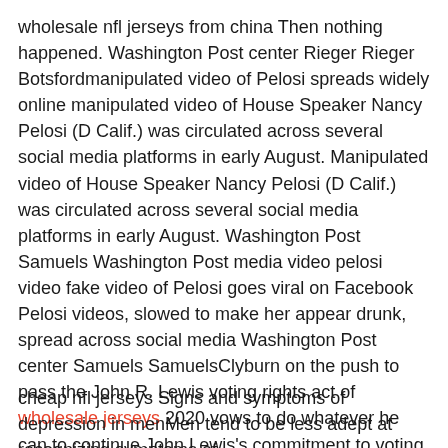wholesale nfl jerseys from china Then nothing happened. Washington Post center Rieger Rieger Botsfordmanipulated video of Pelosi spreads widely online manipulated video of House Speaker Nancy Pelosi (D Calif.) was circulated across several social media platforms in early August. Manipulated video of House Speaker Nancy Pelosi (D Calif.) was circulated across several social media platforms in early August. Washington Post Samuels Washington Post media video pelosi video fake video of Pelosi goes viral on Facebook Pelosi videos, slowed to make her appear drunk, spread across social media Washington Post center Samuels SamuelsClyburn on the push to pass the John R. Lewis voting rights act of wholesale jerseys 2020 vows to do whatever he can to continue John Lewis's commitment to voting rights Majority Whip James E. John Lewis (D Ga.). wholesale nfl jerseys from china
cheap nfl jerseys Signs and symptoms of depression in menMen tend to be less adept at recognizing symptoms of